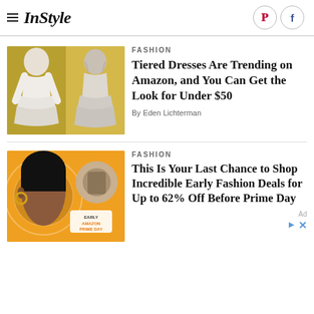InStyle
FASHION
Tiered Dresses Are Trending on Amazon, and You Can Get the Look for Under $50
By Eden Lichterman
[Figure (photo): Two views of a white tiered dress on a yellow background — one front view with long sleeves, one back view with spaghetti straps]
FASHION
This Is Your Last Chance to Shop Incredible Early Fashion Deals for Up to 62% Off Before Prime Day
[Figure (photo): Woman with gold hoop earrings on orange/yellow background with Amazon Prime Day branding and clothing items]